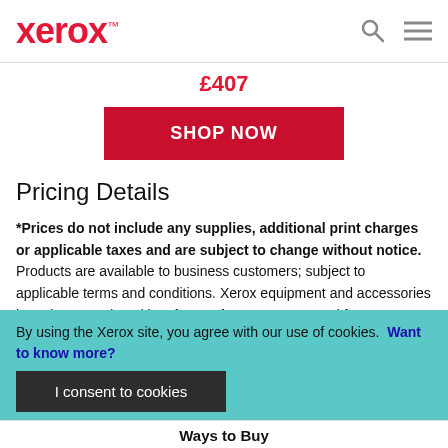xerox™
£407
SHOP NOW
Pricing Details
*Prices do not include any supplies, additional print charges or applicable taxes and are subject to change without notice. Products are available to business customers; subject to applicable terms and conditions. Xerox equipment and accessories have been produced in a factory from new parts and from reprocessed parts
By using the Xerox site, you agree with our use of cookies. Want to know more?
I consent to cookies
Ways to Buy